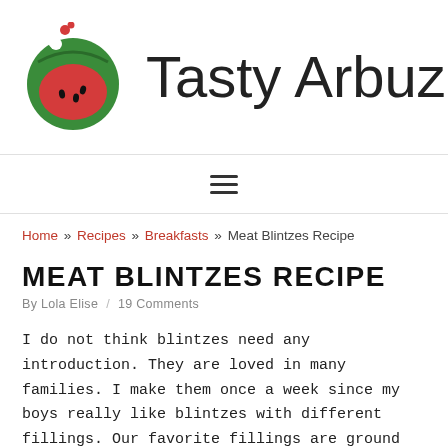[Figure (logo): Tasty Arbuz website logo: a circular green watermelon design with red interior and white dots, with splashing liquid on top]
Tasty Arbuz
☰ (hamburger menu icon)
Home » Recipes » Breakfasts » Meat Blintzes Recipe
MEAT BLINTZES RECIPE
By Lola Elise / 19 Comments
I do not think blintzes need any introduction. They are loved in many families. I make them once a week since my boys really like blintzes with different fillings. Our favorite fillings are ground meet, fruits (which makes them crepes), cheese